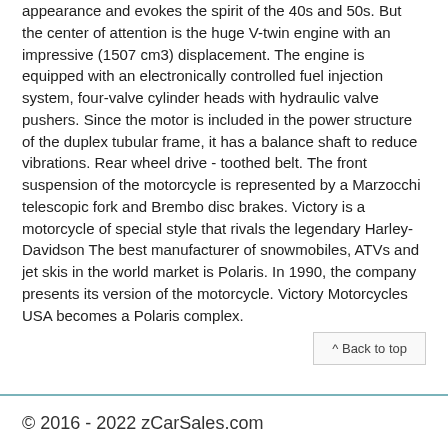appearance and evokes the spirit of the 40s and 50s. But the center of attention is the huge V-twin engine with an impressive (1507 cm3) displacement. The engine is equipped with an electronically controlled fuel injection system, four-valve cylinder heads with hydraulic valve pushers. Since the motor is included in the power structure of the duplex tubular frame, it has a balance shaft to reduce vibrations. Rear wheel drive - toothed belt. The front suspension of the motorcycle is represented by a Marzocchi telescopic fork and Brembo disc brakes. Victory is a motorcycle of special style that rivals the legendary Harley-Davidson The best manufacturer of snowmobiles, ATVs and jet skis in the world market is Polaris. In 1990, the company presents its version of the motorcycle. Victory Motorcycles USA becomes a Polaris complex.
^ Back to top
© 2016 - 2022 zCarSales.com